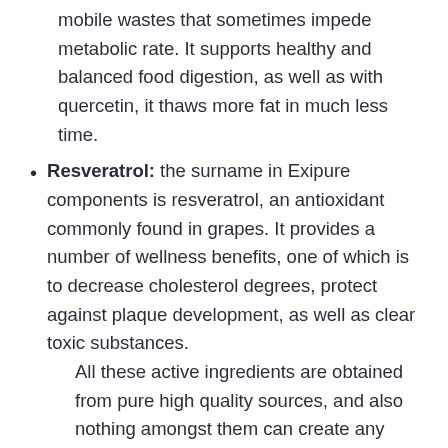mobile wastes that sometimes impede metabolic rate. It supports healthy and balanced food digestion, as well as with quercetin, it thaws more fat in much less time.
Resveratrol: the surname in Exipure components is resveratrol, an antioxidant commonly found in grapes. It provides a number of wellness benefits, one of which is to decrease cholesterol degrees, protect against plaque development, as well as clear toxic substances.
All these active ingredients are obtained from pure high quality sources, and also nothing amongst them can create any side effects in the body.
Review what Exipure evaluates from clients and